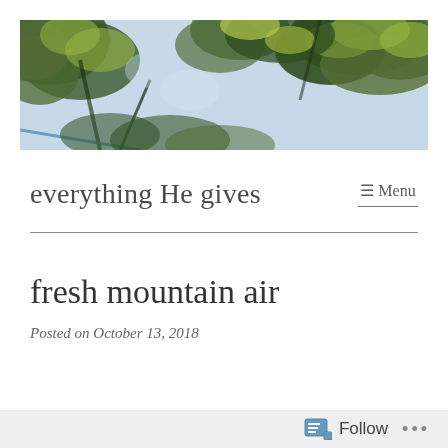[Figure (photo): Header banner photo showing tree branches with green leaves against a light blue sky, viewed from below]
everything He gives
☰ Menu
fresh mountain air
Posted on October 13, 2018
Follow  •••